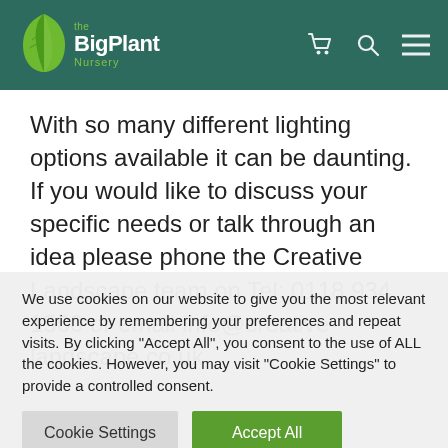The Big Plant Nursery
With so many different lighting options available it can be daunting. If you would like to discuss your specific needs or talk through an idea please phone the Creative Landscape team on Tel: 0118 934 1500 or email info@creative-landscape.co.uk
We use cookies on our website to give you the most relevant experience by remembering your preferences and repeat visits. By clicking "Accept All", you consent to the use of ALL the cookies. However, you may visit "Cookie Settings" to provide a controlled consent.